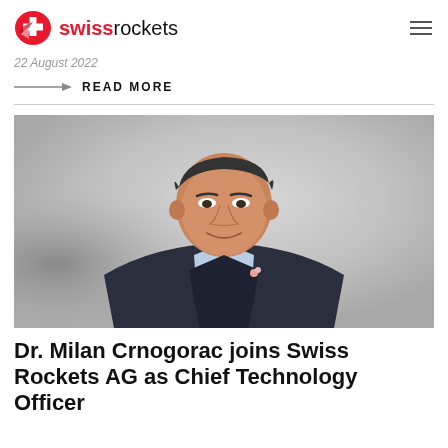swissrockets
22 August 2022
READ MORE
[Figure (photo): Professional headshot of Dr. Milan Crnogorac, a middle-aged man in a dark suit and light blue shirt, smiling, on a gray gradient background.]
Dr. Milan Crnogorac joins Swiss Rockets AG as Chief Technology Officer